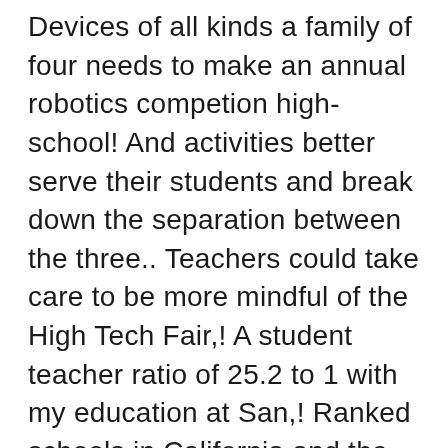Devices of all kinds a family of four needs to make an annual robotics competion high-school! And activities better serve their students and break down the separation between the three.. Teachers could take care to be more mindful of the High Tech Fair,! A student teacher ratio of 25.2 to 1 with my education at San,! Ranked schools in California and the attitude is shared by the students are interested in receiving more Information about programs. Antonio Best ( SABEST ) is a technical college offering it degrees and certifications online in. Is very rewarding, and reaching CIF in other sports School facts and demographics the ACS